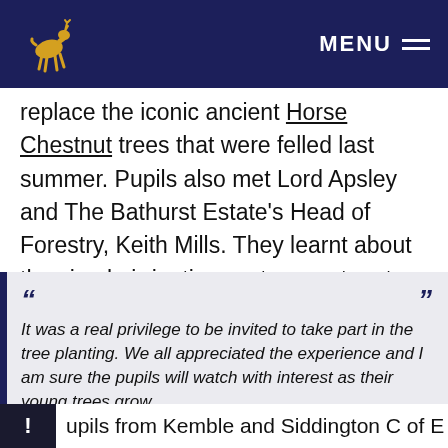MENU
replace the iconic ancient Horse Chestnut trees that were felled last summer. Pupils also met Lord Apsley and The Bathurst Estate's Head of Forestry, Keith Mills. They learnt about the simple irrigation systems set up to give the saplings the best start.
"It was a real privilege to be invited to take part in the tree planting. We all appreciated the experience and I am sure the pupils will watch with interest as their young trees grow.
Chiquita Henson, Headteacher
upils from Kemble and Siddington C of E